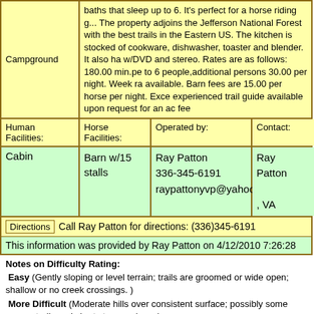| Campground | Description |
| --- | --- |
| Campground | baths that sleep up to 6. It's perfect for a horse riding g... The property adjoins the Jefferson National Forest with the best trails in the Eastern US. The kitchen is stocked of cookwware, dishwasher, toaster and blender. It also ha w/DVD and stereo. Rates are as follows: 180.00 min.pe to 6 people,additional persons 30.00 per night. Week ra available. Barn fees are 15.00 per horse per night. Exce experienced trail guide available upon request for an ad fee |
| Human Facilities: | Horse Facilities: | Operated by: | Contact: | A I |
| --- | --- | --- | --- | --- |
| Cabin | Barn w/15 stalls | Ray Patton
336-345-6191
raypattonyvp@yahoo.com | Ray Patton
, VA |  |
Directions  Call Ray Patton for directions: (336)345-6191
This information was provided by Ray Patton on 4/12/2010 7:26:28
Notes on Difficulty Rating:
Easy (Gently sloping or level terrain; trails are groomed or wide open; shallow or no creek crossings. )
More Difficult (Moderate hills over consistent surface; possibly some narrow trails and short steeper slopes)
Rigorous (Easy to More Difficult for rider but physically challenging for horse such as on a level surface through deep sand)